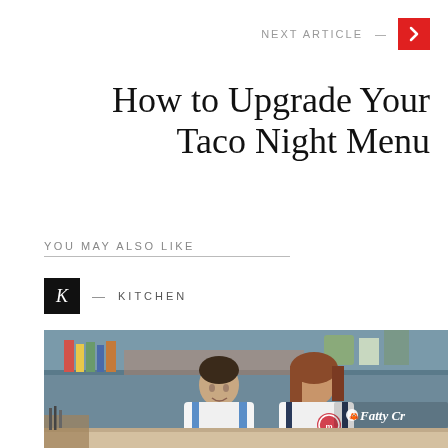NEXT ARTICLE —
How to Upgrade Your Taco Night Menu
YOU MAY ALSO LIKE
K — KITCHEN
[Figure (photo): Two people wearing aprons working together in a kitchen, with shelves of books and cooking supplies in the background. A watermark reading 'Fatty Cr...' with a crab icon is visible.]